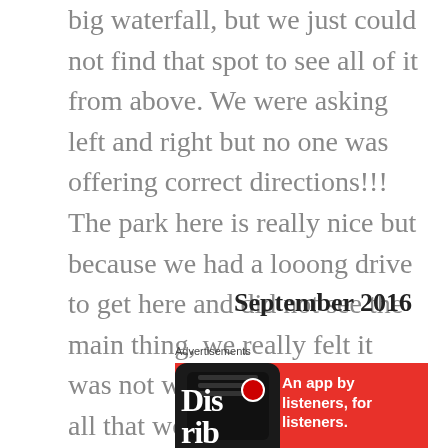big waterfall, but we just could not find that spot to see all of it from above. We were asking left and right but no one was offering correct directions!!! The park here is really nice but because we had a looong drive to get here and did not see the main thing, we really felt it was not well explained so not all that worth it.
September 2016
Advertisements
[Figure (other): Red advertisement banner for a podcast/audio app called Dis...rib (partially visible). Shows a dark smartphone on the left and bold white text on the right reading 'An app by listeners, for listeners.']